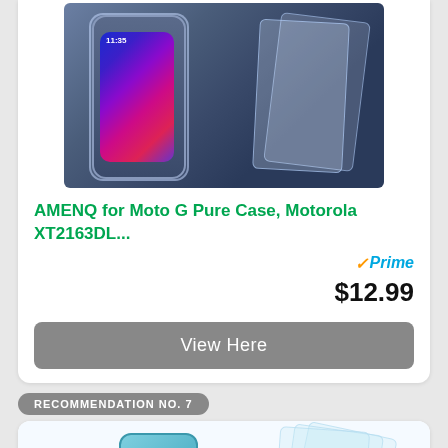[Figure (photo): Product photo of AMENQ phone case with clear bumper and screen protectors for Motorola Moto G Pure, showing phone, case, and glass protectors]
AMENQ for Moto G Pure Case, Motorola XT2163DL...
Prime $12.99
View Here
RECOMMENDATION NO. 7
[Figure (photo): Product photo of teal/light blue phone case with screen protectors for a smartphone]